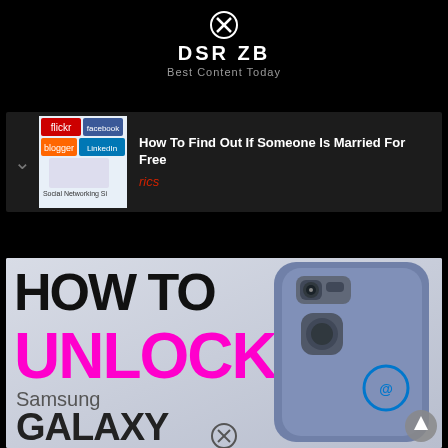DSR ZB
Best Content Today
How To Find Out If Someone Is Married For Free
rics
[Figure (screenshot): How To Unlock Samsung Galaxy infographic with phone image showing 'HOW TO UNLOCK Samsung GALAXY' text over image of Samsung Galaxy phone back]